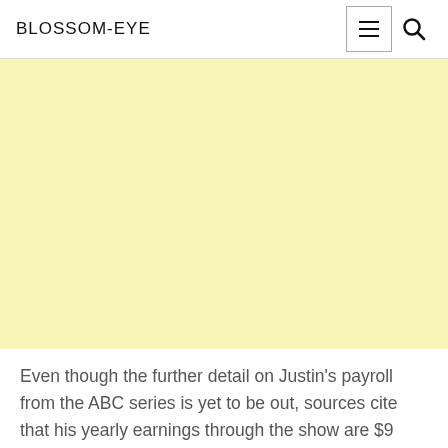BLOSSOM-EYE
[Figure (illustration): Large light yellow rectangular image placeholder block]
Even though the further detail on Justin's payroll from the ABC series is yet to be out, sources cite that his yearly earnings through the show are $9 million.